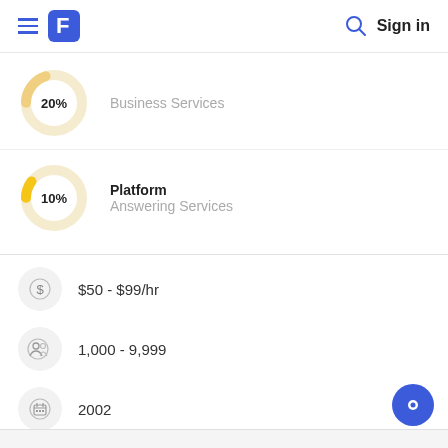Sign in
[Figure (donut-chart): Donut chart showing 20% with label Business Services]
[Figure (donut-chart): Donut chart showing 10% with label Platform / Answering Services]
$50 - $99/hr
1,000 - 9,999
2002
India, United States